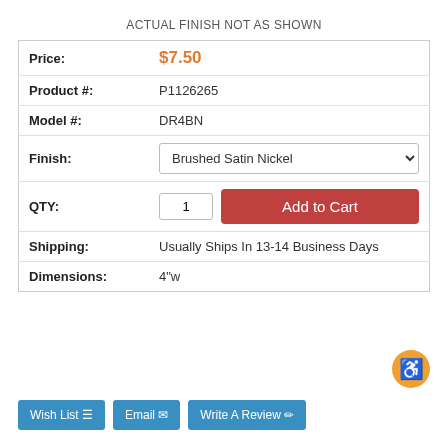ACTUAL FINISH NOT AS SHOWN
| Field | Value |
| --- | --- |
| Price: | $7.50 |
| Product #: | P1126265 |
| Model #: | DR4BN |
| Finish: | Brushed Satin Nickel |
| QTY: | 1 | Add to Cart |
| Shipping: | Usually Ships In 13-14 Business Days |
| Dimensions: | 4"w |
Wish List
Email
Write A Review